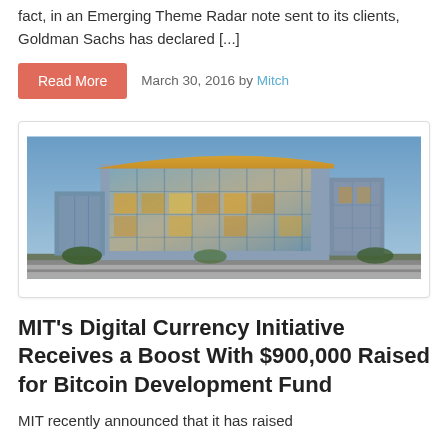fact, in an Emerging Theme Radar note sent to its clients, Goldman Sachs has declared [...]
Read More   March 30, 2016 by Mitch
[Figure (photo): Exterior photo of a modern glass and steel building at dusk, likely an MIT campus building with warm interior lighting visible through large glass facades.]
MIT's Digital Currency Initiative Receives a Boost With $900,000 Raised for Bitcoin Development Fund
MIT recently announced that it has raised